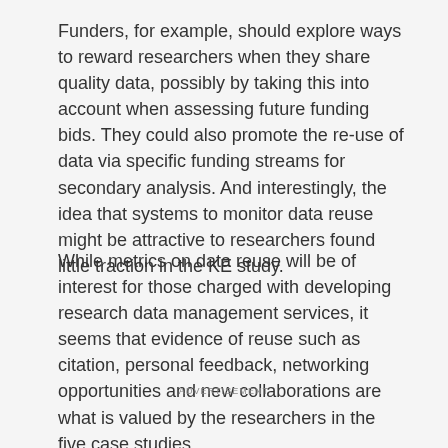Funders, for example, should explore ways to reward researchers when they share quality data, possibly by taking this into account when assessing future funding bids. They could also promote the re-use of data via specific funding streams for secondary analysis. And interestingly, the idea that systems to monitor data reuse might be attractive to researchers found little traction in the KE study.
While metrics on data reuse will be of interest for those charged with developing research data management services, it seems that evidence of reuse such as citation, personal feedback, networking opportunities and new collaborations are what is valued by the researchers in the five case studies.
ADVERTISEMENT